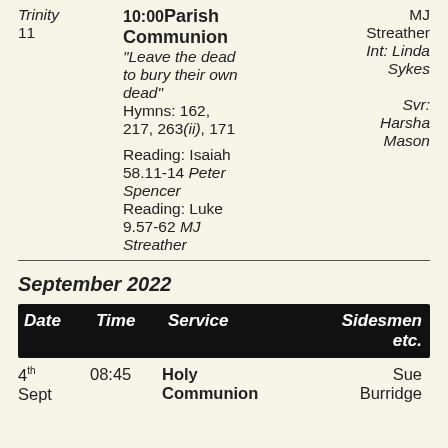| Date | Time | Service | Sidesmen etc. |
| --- | --- | --- | --- |
| Trinity 11 | 10:00 | Parish Communion
"Leave the dead to bury their own dead"
Hymns: 162, 217, 263(ii), 171
Reading: Isaiah 58.11-14 Peter Spencer
Reading: Luke 9.57-62 MJ Streather | MJ Streather
Int: Linda Sykes
Svr: Harsha Mason |
September 2022
| Date | Time | Service | Sidesmen etc. |
| --- | --- | --- | --- |
| 4th Sept | 08:45 | Holy Communion | Sue Burridge |